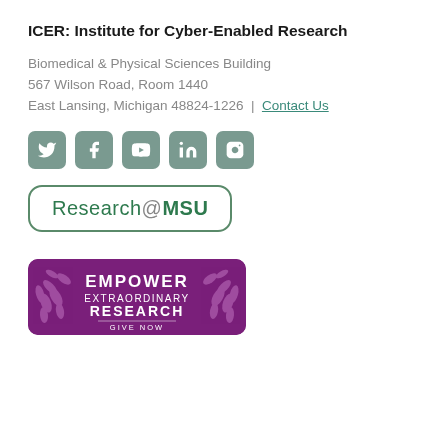ICER: Institute for Cyber-Enabled Research
Biomedical & Physical Sciences Building
567 Wilson Road, Room 1440
East Lansing, Michigan 48824-1226 | Contact Us
[Figure (other): Row of five social media icons: Twitter, Facebook, YouTube, LinkedIn, Instagram — grey rounded-square style]
[Figure (logo): Research@MSU logo: green text in a rounded-corner rectangle border]
[Figure (other): Empower Extraordinary Research Give Now banner — purple background with laurel leaves and white bold text]